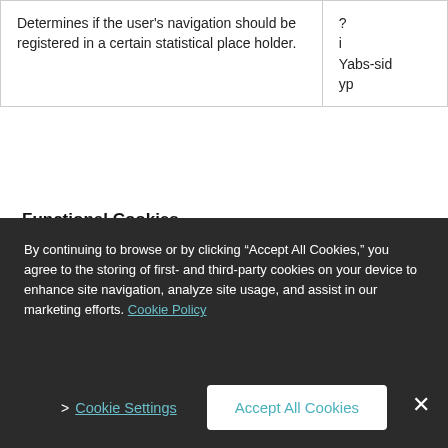| Determines if the user's navigation should be registered in a certain statistical place holder. | ?
i
Yabs-sid
yp |
Functional Cookies
These cookies allow the provision of enhanced functionality and personalization, such as videos and live chats. They may be set by us or by third-party providers whose services we have added to our pages. If you do not allow these cookies,
By continuing to browse or by clicking “Accept All Cookies,” you agree to the storing of first- and third-party cookies on your device to enhance site navigation, analyze site usage, and assist in our marketing efforts. Cookie Policy